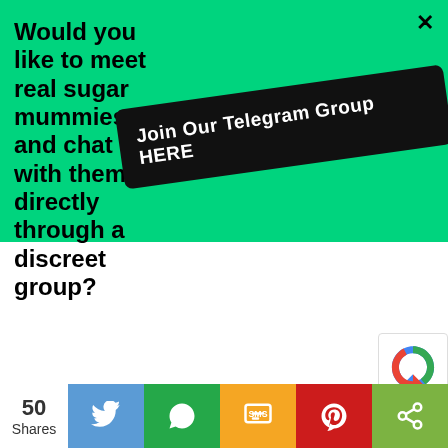Would you like to meet real sugar mummies and chat with them directly through a discreet group?
[Figure (infographic): Black rounded rectangle button with white bold text: Join Our Telegram Group HERE, rotated slightly counter-clockwise]
[Figure (infographic): Social share bar with 50 Shares count, Twitter (blue), WhatsApp (green), SMS (yellow/orange), Pinterest (red), Share (olive green) buttons with icons]